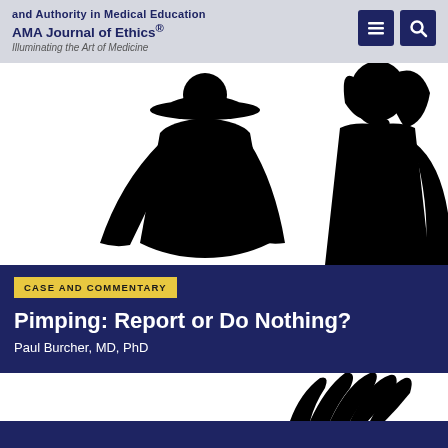and Authority in Medical Education
AMA Journal of Ethics®
Illuminating the Art of Medicine
[Figure (illustration): Black silhouette of two figures against white background: a man wearing a cowboy hat on the left, and a woman's profile on the right.]
CASE AND COMMENTARY
Pimping: Report or Do Nothing?
Paul Burcher, MD, PhD
[Figure (illustration): Partial view of a black illustrated figure at the bottom of the page, cropped.]